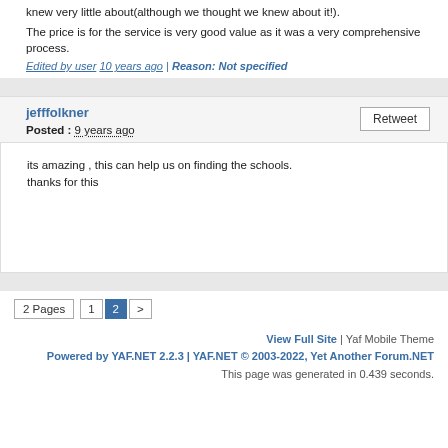knew very little about(although we thought we knew about it!).
The price is for the service is very good value as it was a very comprehensive process.
Edited by user 10 years ago | Reason: Not specified
jefffolkner
Posted : 9 years ago
its amazing , this can help us on finding the schools.
thanks for this
2 Pages  1  2  >
View Full Site | Yaf Mobile Theme
Powered by YAF.NET 2.2.3 | YAF.NET © 2003-2022, Yet Another Forum.NET
This page was generated in 0.439 seconds.